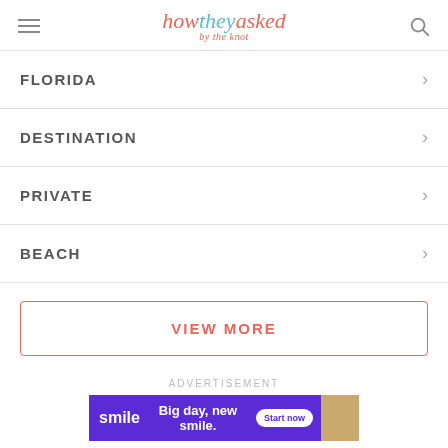how they asked by the knot
FLORIDA
DESTINATION
PRIVATE
BEACH
VIEW MORE
ADVERTISEMENT
[Figure (photo): Advertisement banner with purple background showing 'smile' and 'Big day, new smile.' text with Start now button and woman's photo]